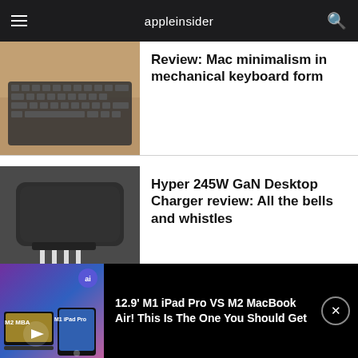appleinsider
[Figure (photo): Photo of a mechanical keyboard on a wooden surface]
Review: Mac minimalism in mechanical keyboard form
[Figure (photo): Photo of a Hyper 245W GaN Desktop Charger with cables plugged in]
Hyper 245W GaN Desktop Charger review: All the bells and whistles
[Figure (photo): Photo of Eve Aqua 3rd-gen smart water controller outdoors]
Eve Aqua (3rd-gen) review: Upgrades all around for
[Figure (screenshot): Video thumbnail showing M2 MacBook Air and M1 iPad Pro comparison with appleinsider ai badge]
12.9' M1 iPad Pro VS M2 MacBook Air! This Is The One You Should Get